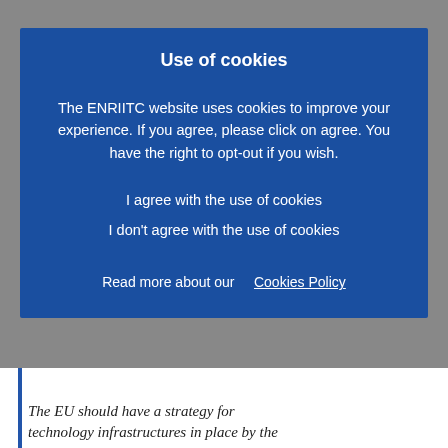Use of cookies
The ENRIITC website uses cookies to improve your experience. If you agree, please click on agree. You have the right to opt-out if you wish.
I agree with the use of cookies
I don't agree with the use of cookies
Read more about our    Cookies Policy
The EU should have a strategy for technology infrastructures in place by the